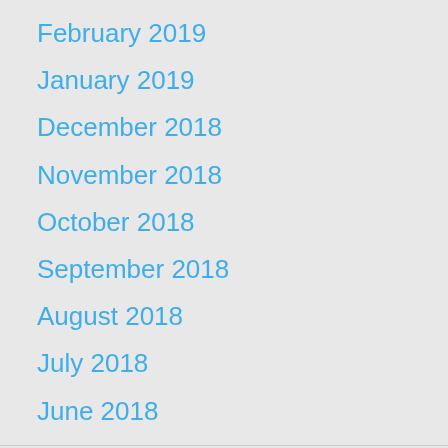February 2019
January 2019
December 2018
November 2018
October 2018
September 2018
August 2018
July 2018
June 2018
Categories
Binge Eating
Body Acceptance